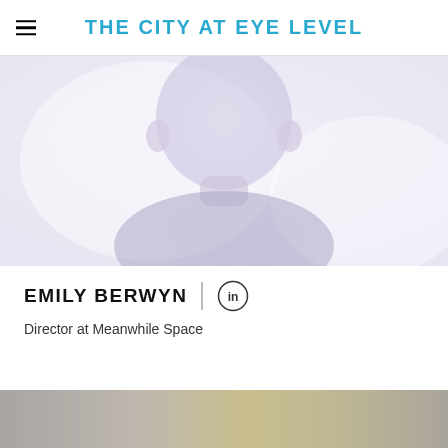THE CITY AT EYE LEVEL
[Figure (photo): A close-up stylized photo of a person viewed from behind, wearing a blue outfit, with a soft blurred white/lavender background.]
EMILY BERWYN
Director at Meanwhile Space
[Figure (photo): Partial view of another image at the bottom of the page, showing a blurred outdoor/architectural scene in muted tones.]